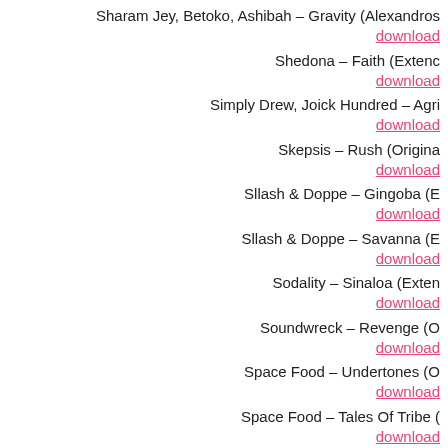Sharam Jey, Betoko, Ashibah – Gravity (Alexandros...
download
Shedona – Faith (Extenc...
download
Simply Drew, Joick Hundred – Agri...
download
Skepsis – Rush (Origina...
download
Sllash & Doppe – Gingoba (E...
download
Sllash & Doppe – Savanna (E...
download
Sodality – Sinaloa (Exten...
download
Soundwreck – Revenge (O...
download
Space Food – Undertones (O...
download
Space Food – Tales Of Tribe (...
download
Squire, Alexandra Pride – Stars Co...
download